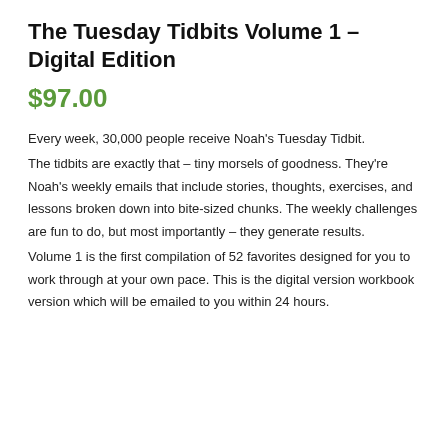The Tuesday Tidbits Volume 1 – Digital Edition
$97.00
Every week, 30,000 people receive Noah's Tuesday Tidbit. The tidbits are exactly that – tiny morsels of goodness. They're Noah's weekly emails that include stories, thoughts, exercises, and lessons broken down into bite-sized chunks. The weekly challenges are fun to do, but most importantly – they generate results. Volume 1 is the first compilation of 52 favorites designed for you to work through at your own pace. This is the digital version workbook version which will be emailed to you within 24 hours.